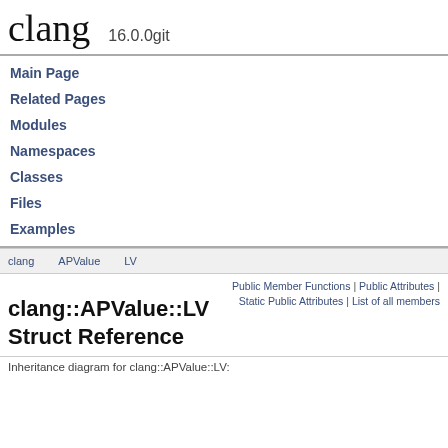clang 16.0.0git
Main Page
Related Pages
Modules
Namespaces
Classes
Files
Examples
clang   APValue   LV
Public Member Functions | Public Attributes | Static Public Attributes | List of all members
clang::APValue::LV Struct Reference
Inheritance diagram for clang::APValue::LV: